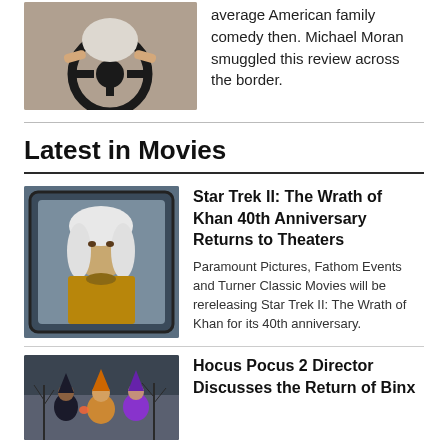[Figure (photo): Person gripping a steering wheel, wearing a sleeveless top, viewed from front/above]
average American family comedy then. Michael Moran smuggled this review across the border.
Latest in Movies
[Figure (photo): Older man with long white hair, wearing a gold/brown costume, framed by a screen — character from Star Trek II]
Star Trek II: The Wrath of Khan 40th Anniversary Returns to Theaters
Paramount Pictures, Fathom Events and Turner Classic Movies will be rereleasing Star Trek II: The Wrath of Khan for its 40th anniversary.
[Figure (photo): Three witches from Hocus Pocus 2 in costumes against a winter outdoor backdrop]
Hocus Pocus 2 Director Discusses the Return of Binx